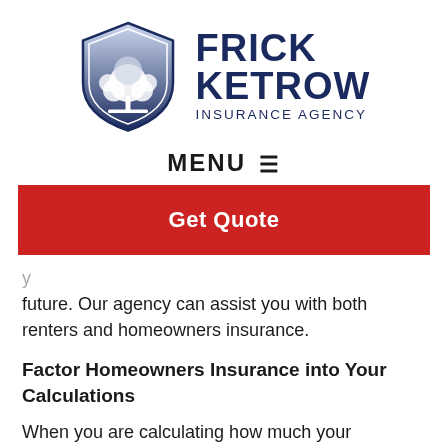[Figure (logo): Frick Ketrow Insurance Agency logo: shield with tree and brand name]
MENU ≡
Get Quote
future. Our agency can assist you with both renters and homeowners insurance.
Factor Homeowners Insurance into Your Calculations
When you are calculating how much your mortgage